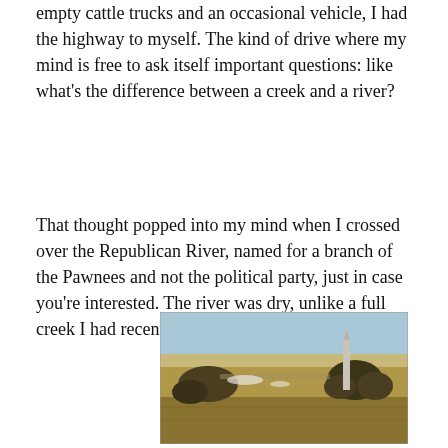empty cattle trucks and an occasional vehicle, I had the highway to myself. The kind of drive where my mind is free to ask itself important questions: like what's the difference between a creek and a river?
That thought popped into my mind when I crossed over the Republican River, named for a branch of the Pawnees and not the political party, just in case you're interested. The river was dry, unlike a full creek I had recently crossed over.
[Figure (photo): Outdoor landscape photograph showing a flat, open plains scene with dry brown grassland in the foreground. Trees line the middle ground, and a tall obelisk or monument stands to the right of center. The background shows a wide open flat plain under a clear blue sky with a road visible.]